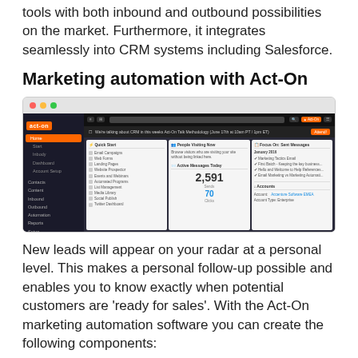tools with both inbound and outbound possibilities on the market. Furthermore, it integrates seamlessly into CRM systems including Salesforce.
Marketing automation with Act-On
[Figure (screenshot): Screenshot of the Act-On marketing automation platform dashboard showing the main navigation sidebar, top bar with search, a notification/alert bar, and three dashboard panels: 'People Visiting Now', 'Active Messages Today' showing 2,591 and 70 metrics, and 'Focus On: Sent Messages' with a list of items and an Accounts section.]
New leads will appear on your radar at a personal level. This makes a personal follow-up possible and enables you to know exactly when potential customers are ‘ready for sales’. With the Act-On marketing automation software you can create the following components: